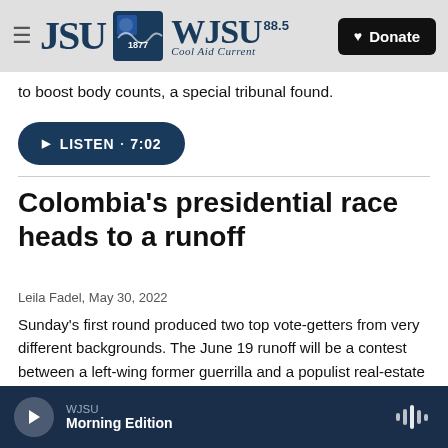JSU WJSU 88.5 Cool Aid Current — Donate
to boost body counts, a special tribunal found.
[Figure (other): Listen button with play icon showing duration 7:02]
Colombia's presidential race heads to a runoff
Leila Fadel, May 30, 2022
Sunday's first round produced two top vote-getters from very different backgrounds. The June 19 runoff will be a contest between a left-wing former guerrilla and a populist real-estate mogul.
WJSU Morning Edition